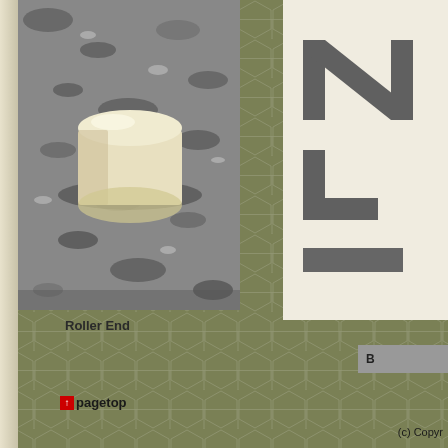[Figure (photo): Close-up photograph of a cylindrical roller end (cream/beige colored) resting on a granite surface. The roller is viewed from one end showing its circular cross-section.]
Roller End
[Figure (screenshot): Partial view of a white panel on the right side showing large dark gray letters/shapes, partially cropped at the right edge of the page.]
[Figure (other): Gray button bar at bottom right with letter B visible]
pagetop
(c) Copyr